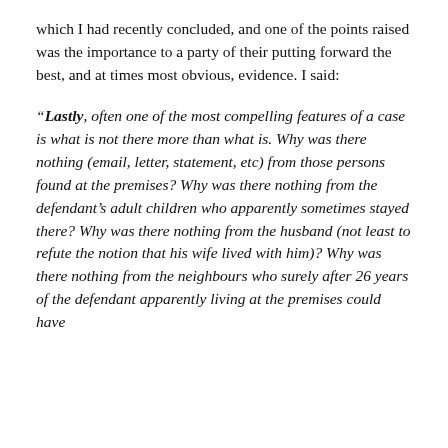which I had recently concluded, and one of the points raised was the importance to a party of their putting forward the best, and at times most obvious, evidence. I said:
“Lastly, often one of the most compelling features of a case is what is not there more than what is. Why was there nothing (email, letter, statement, etc) from those persons found at the premises? Why was there nothing from the defendant’s adult children who apparently sometimes stayed there? Why was there nothing from the husband (not least to refute the notion that his wife lived with him)? Why was there nothing from the neighbours who surely after 26 years of the defendant apparently living at the premises could have